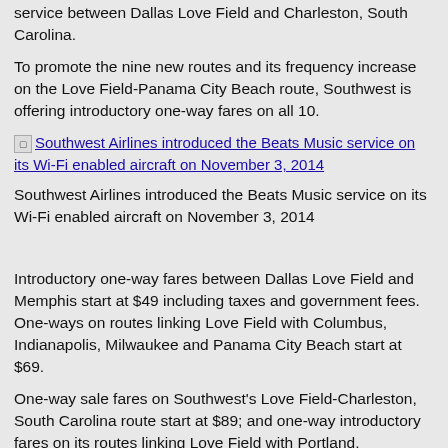service between Dallas Love Field and Charleston, South Carolina.
To promote the nine new routes and its frequency increase on the Love Field-Panama City Beach route, Southwest is offering introductory one-way fares on all 10.
[Figure (other): Broken image placeholder with link text: Southwest Airlines introduced the Beats Music service on its Wi-Fi enabled aircraft on November 3, 2014]
Southwest Airlines introduced the Beats Music service on its Wi-Fi enabled aircraft on November 3, 2014
Introductory one-way fares between Dallas Love Field and Memphis start at $49 including taxes and government fees. One-ways on routes linking Love Field with Columbus, Indianapolis, Milwaukee and Panama City Beach start at $69.
One-way sale fares on Southwest's Love Field-Charleston, South Carolina route start at $89; and one-way introductory fares on its routes linking Love Field with Portland, Sacramento, San Jose and Seattle-Tacoma